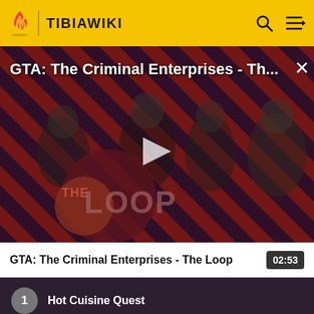TIBIAWIKI
[Figure (screenshot): Video thumbnail for GTA: The Criminal Enterprises - The Loop, showing four game characters on a diagonal red and black striped background with THE LOOP logo, a play button overlay, and a close (X) button. Title text overlay reads: GTA: The Criminal Enterprises - Th...]
GTA: The Criminal Enterprises - The Loop  02:53
1  Hot Cuisine Quest